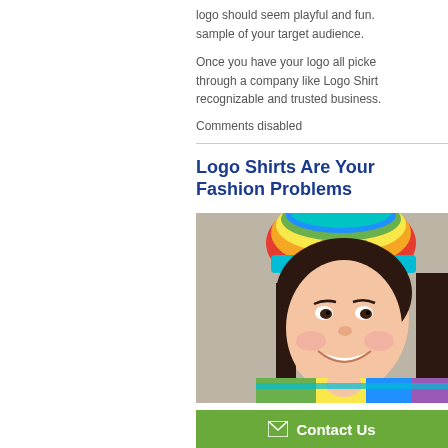logo should seem playful and fun. sample of your target audience.
Once you have your logo all picked through a company like Logo Shirt recognizable and trusted business.
Comments disabled
Logo Shirts Are Your Fashion Problems
[Figure (photo): Smiling young woman wearing a colorful rainbow knit hat and scarf]
Contact Us